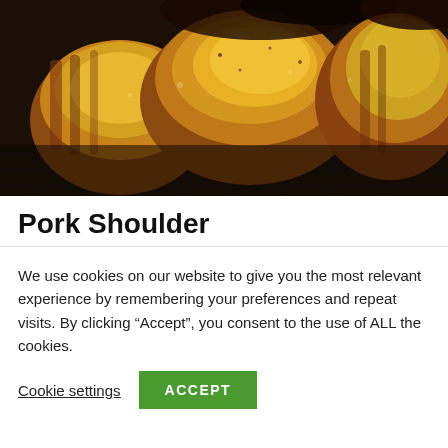[Figure (photo): Close-up photo of grilled pork shoulder pieces on a grill, showing caramelized, golden-brown meat with charred edges and seasoning]
Pork Shoulder
We use cookies on our website to give you the most relevant experience by remembering your preferences and repeat visits. By clicking “Accept”, you consent to the use of ALL the cookies.
Cookie settings  ACCEPT